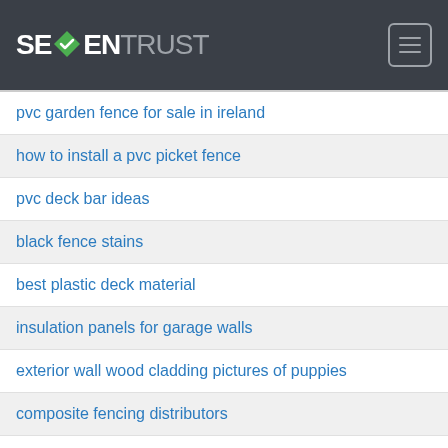[Figure (logo): SevenTrust logo with green diamond checkmark in header]
pvc garden fence for sale in ireland
how to install a pvc picket fence
pvc deck bar ideas
black fence stains
best plastic deck material
insulation panels for garage walls
exterior wall wood cladding pictures of puppies
composite fencing distributors